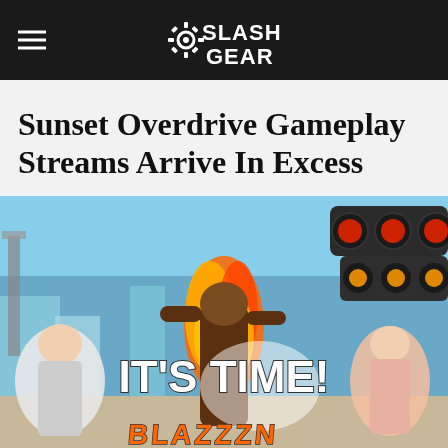SlashGear
Sunset Overdrive Gameplay Streams Arrive In Excess
[Figure (illustration): Sunset Overdrive game promotional art showing animated characters in a colorful city scene with the text IT'S TIME! overlaid. Characters include a muscular figure with fire, an elderly man, and a woman, with large weapon barrels visible on the right side.]